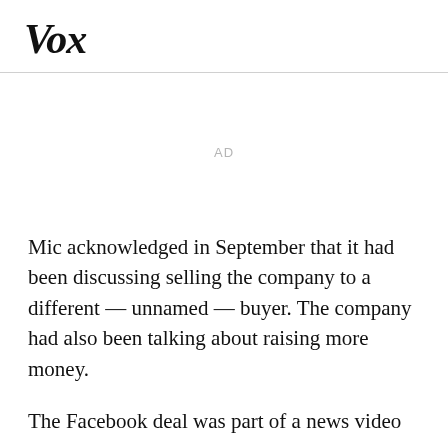Vox
AD
Mic acknowledged in September that it had been discussing selling the company to a different — unnamed — buyer. The company had also been talking about raising more money.
The Facebook deal was part of a news video